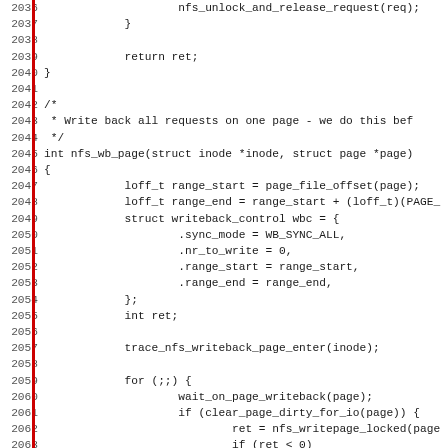Source code listing, lines 2036-2067, showing C kernel NFS writeback functions including nfs_wb_page